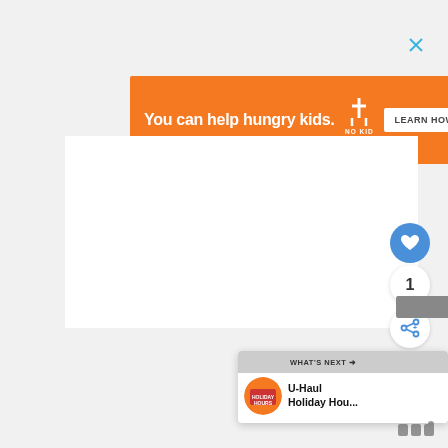[Figure (infographic): Orange advertisement banner: 'You can help hungry kids.' with No Kid Hungry logo and 'LEARN HOW' button, with X close button in top right corner]
[Figure (screenshot): White content area below the advertisement banner, mostly blank/white space]
[Figure (infographic): Blue circular heart/favorite button, count badge showing '1', share button, and 'WHAT'S NEXT' panel with U-Haul Holiday Hours thumbnail in bottom-right corner]